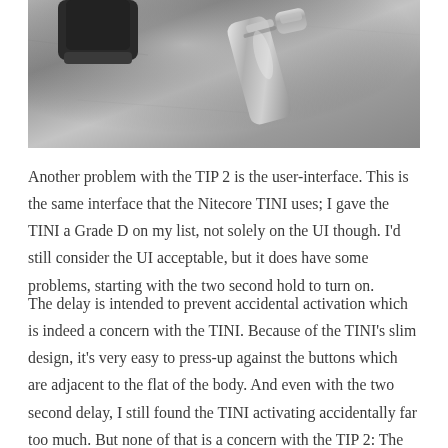[Figure (photo): Close-up photo of small metallic flashlight/torch components on a grey concrete surface. Shows a dark cylindrical cap piece on the left and a silver metallic cylindrical body on the right.]
Another problem with the TIP 2 is the user-interface. This is the same interface that the Nitecore TINI uses; I gave the TINI a Grade D on my list, not solely on the UI though. I'd still consider the UI acceptable, but it does have some problems, starting with the two second hold to turn on.
The delay is intended to prevent accidental activation which is indeed a concern with the TINI. Because of the TINI's slim design, it's very easy to press-up against the buttons which are adjacent to the flat of the body. And even with the two second delay, I still found the TINI activating accidentally far too much. But none of that is a concern with the TIP 2: The buttons are on the side and